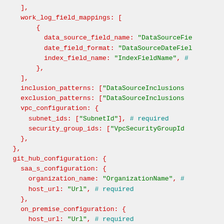Code block showing YAML/JSON configuration with fields: work_log_field_mappings, inclusion_patterns, exclusion_patterns, vpc_configuration, git_hub_configuration, saa_s_configuration, on_premise_configuration and their nested properties.